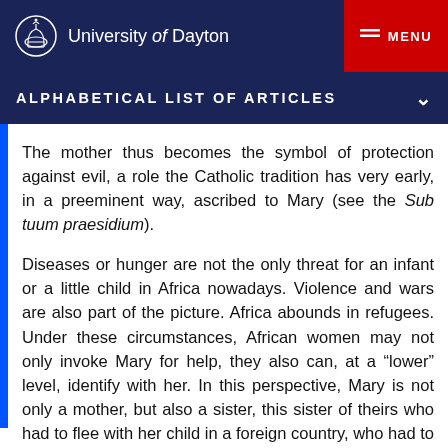University of Dayton
ALPHABETICAL LIST OF ARTICLES
The mother thus becomes the symbol of protection against evil, a role the Catholic tradition has very early, in a preeminent way, ascribed to Mary (see the Sub tuum praesidium).
Diseases or hunger are not the only threat for an infant or a little child in Africa nowadays. Violence and wars are also part of the picture. Africa abounds in refugees. Under these circumstances, African women may not only invoke Mary for help, they also can, at a “lower” level, identify with her. In this perspective, Mary is not only a mother, but also a sister, this sister of theirs who had to flee with her child in a foreign country, who had to look for her lost child for several days